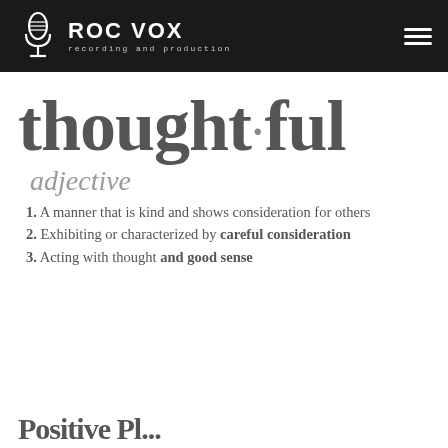ROC VOX recording and production
thought·ful
adjective
1. A manner that is kind and shows consideration for others
2. Exhibiting or characterized by careful consideration
3. Acting with thought and good sense
Positive Pl...